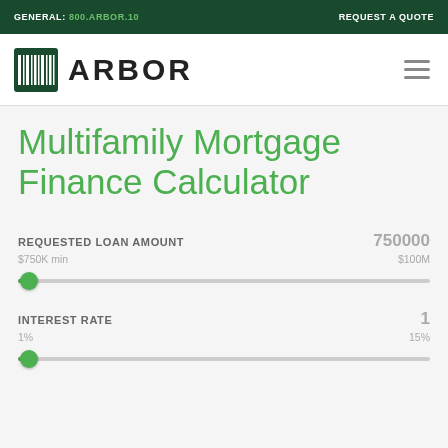GENERAL: 800.ARBOR.10    REQUEST A QUOTE
[Figure (logo): Arbor company logo with barcode icon and ARBOR text]
Multifamily Mortgage Finance Calculator
REQUESTED LOAN AMOUNT   750000
$750K min   $100M
INTEREST RATE   1
1%   15%